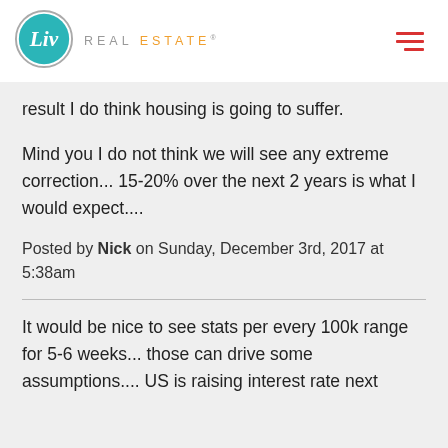[Figure (logo): Liv Real Estate logo with teal circle containing 'Liv' in white, followed by 'REAL ESTATE' text in grey and orange]
result I do think housing is going to suffer.
Mind you I do not think we will see any extreme correction... 15-20% over the next 2 years is what I would expect....
Posted by Nick on Sunday, December 3rd, 2017 at 5:38am
It would be nice to see stats per every 100k range for 5-6 weeks... those can drive some assumptions.... US is raising interest rate next